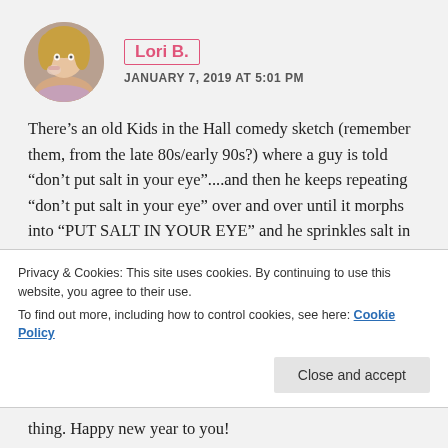[Figure (photo): Circular avatar photo of a woman eating or holding food, light background]
Lori B.
JANUARY 7, 2019 AT 5:01 PM
There’s an old Kids in the Hall comedy sketch (remember them, from the late 80s/early 90s?) where a guy is told “don’t put salt in your eye”....and then he keeps repeating “don’t put salt in your eye” over and over until it morphs into “PUT SALT IN YOUR EYE” and he sprinkles salt in his eye and falls down in agony. It was a weird sketch, but I always think of it every time the idea of being told you can’t do something makes you WANT to do it....or at least makes you really
Privacy & Cookies: This site uses cookies. By continuing to use this website, you agree to their use.
To find out more, including how to control cookies, see here: Cookie Policy
Close and accept
thing. Happy new year to you!